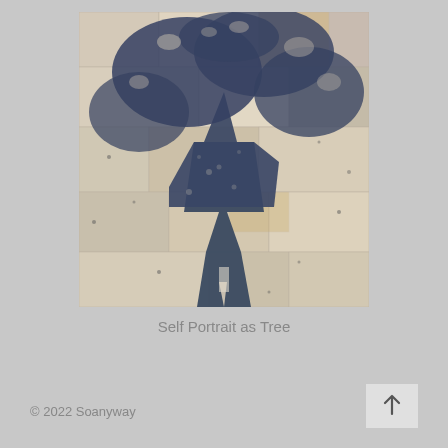[Figure (photo): Shadow of a person holding a tree branch cast on a stone-paved ground. The shadow shows the silhouette of a human figure with leafy branches extending from the top, resembling a tree. The ground is light-colored stone or concrete with small dark spots.]
Self Portrait as Tree
© 2022 Soanyway